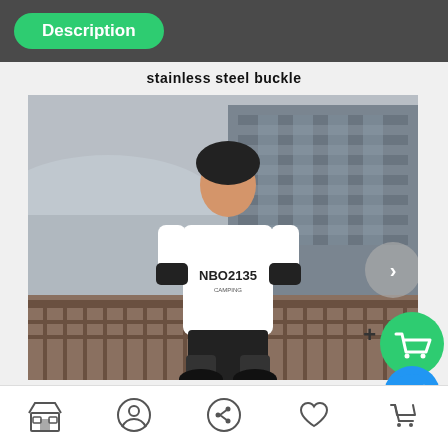Description
stainless steel buckle
[Figure (photo): Young man wearing a white T-shirt with 'NBO2135' text, black helmet, protective gear (elbow and knee pads), standing in front of an industrial building with fencing. Skater/protective sports gear model photo.]
Store | Profile | Share | Wishlist | Cart